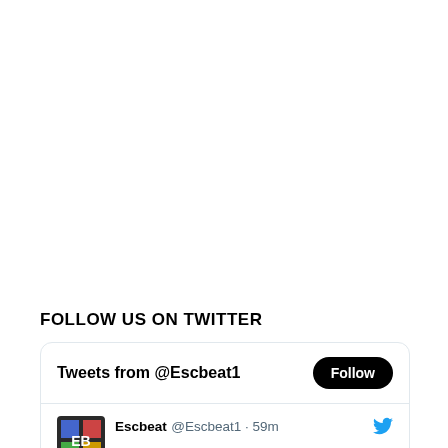FOLLOW US ON TWITTER
[Figure (screenshot): Twitter/X widget showing 'Tweets from @Escbeat1' with a Follow button and a tweet from Escbeat @Escbeat1 posted 59 minutes ago, with a Twitter bird icon in blue.]